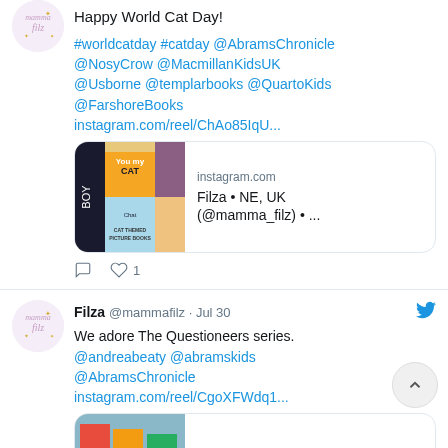Happy World Cat Day!
#worldcatday #catday @AbramsChronicle @NosyCrow @MacmillanKidsUK @Usborne @templarbooks @QuartoKids @FarshoreBooks instagram.com/reel/ChAo85IqU...
[Figure (screenshot): Instagram link card showing cat-themed picture books image with text: instagram.com, Filza • NE, UK (@mamma_filz) • ...]
♡ 1
Filza @mammafilz · Jul 30
We adore The Questioneers series. @andreabeaty @abramskids @AbramsChronicle instagram.com/reel/CgoXFWdq1...
[Figure (screenshot): Instagram link card showing books image with text: instagram.com]